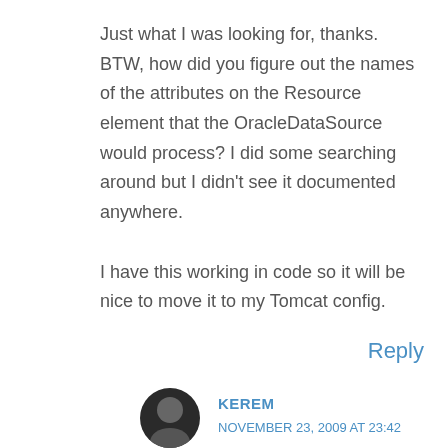Just what I was looking for, thanks. BTW, how did you figure out the names of the attributes on the Resource element that the OracleDataSource would process? I did some searching around but I didn't see it documented anywhere.

I have this working in code so it will be nice to move it to my Tomcat config.
Reply
KEREM
NOVEMBER 23, 2009 AT 23:42
Hi Mike,